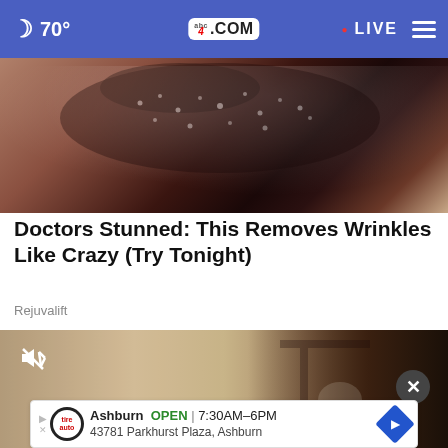🌙 70°  abc4.com  • LIVE  ☰
[Figure (photo): Close-up photo of a dark chocolate-colored substance with white salt crystals on top, product or food texture]
Doctors Stunned: This Removes Wrinkles Like Crazy (Try Tonight)
Rejuvalift
[Figure (screenshot): Video screenshot showing an outdoor wall-mounted lamp fixture against a textured stone wall, with a mute/speaker icon overlay in top left]
Ashburn  OPEN | 7:30AM–6PM
43781 Parkhurst Plaza, Ashburn